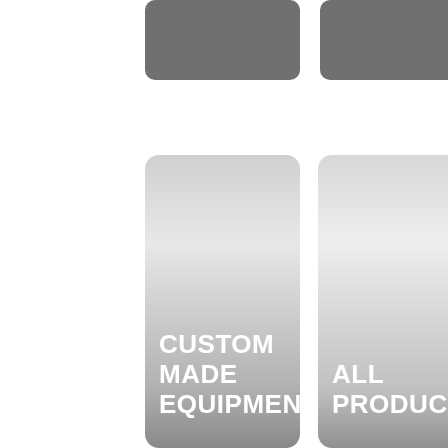[Figure (other): Gray rounded rectangle button, top left]
[Figure (other): Gray rounded rectangle button, top right]
[Figure (other): Tall rounded card with gradient background and white bold text reading CUSTOM MADE EQUIPMENT]
[Figure (other): Tall rounded card with gradient background and white bold text reading ALL PRODUCTS]